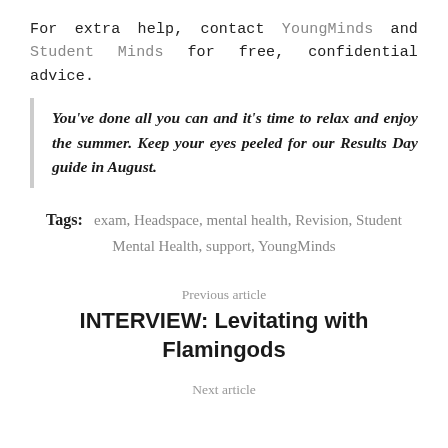For extra help, contact YoungMinds and Student Minds for free, confidential advice.
You've done all you can and it's time to relax and enjoy the summer. Keep your eyes peeled for our Results Day guide in August.
Tags: exam, Headspace, mental health, Revision, Student Mental Health, support, YoungMinds
Previous article
INTERVIEW: Levitating with Flamingods
Next article